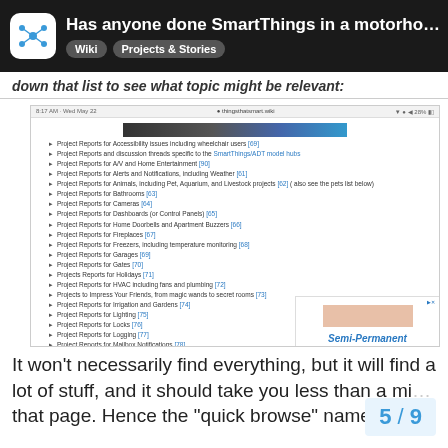Has anyone done SmartThings in a motorho... | Wiki | Projects & Stories
down that list to see what topic might be relevant:
[Figure (screenshot): Screenshot of a SmartThings wiki page showing a bulleted list of Project Reports categories including Accessibility, A/V and Home Entertainment, Alerts and Notifications, Animals, Bathrooms, Cameras, Dashboards, Home Doorbells, Fireplaces, Freezers, Garages, Gates, Holidays, HVAC, Impress Your Friends, Irrigation and Gardens, Lighting, Locks, Logging, Mailbox Notifications, Miscellaneous, Mobile Homes and RVs, Pet and Livestock, Pool and Pond. An advertisement for Semi-Permanent is visible at the bottom right.]
It won't necessarily find everything, but it will find a lot of stuff, and it should take you less than a mi... that page. Hence the "quick browse" name
5 / 9